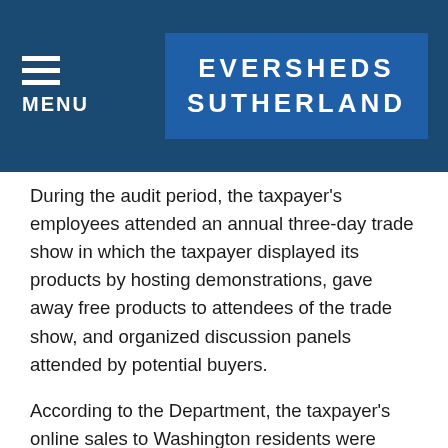MENU | EVERSHEDS SUTHERLAND
During the audit period, the taxpayer's employees attended an annual three-day trade show in which the taxpayer displayed its products by hosting demonstrations, gave away free products to attendees of the trade show, and organized discussion panels attended by potential buyers.
According to the Department, the taxpayer's online sales to Washington residents were subject to B&O tax and sales tax based on the taxpayer's participation in the trade shows. The taxpayer argued that attending this annual trade show and engaging in these activities, without some additional activity, did not create substantial nexus because the taxpayer did not engage